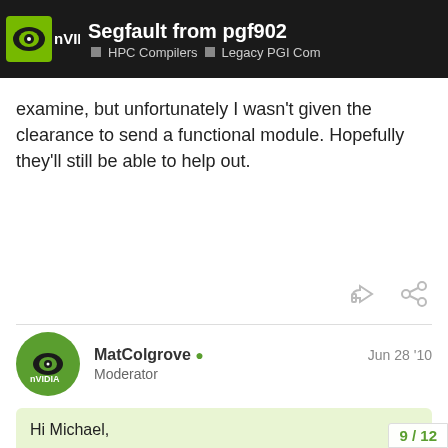Segfault from pgf902 — HPC Compilers ■ Legacy PGI Com
examine, but unfortunately I wasn't given the clearance to send a functional module. Hopefully they'll still be able to help out.
MatColgrove 🛡 Moderator  Jun 28 '10
Hi Michael,

Customer support sent me your code example.
PGF90-F-0000-Internal compiler error. pgnvd job exited with nonzero status code 0
This being caused by your use of a string comparison "if (mystrr == "hello")". This comparis
9 / 12